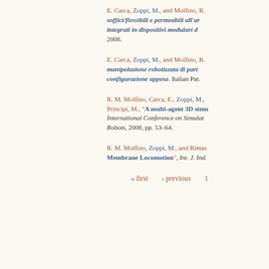E. Carca, Zoppi, M., and Molfino, R. soffici/flessibili e permeabili all'ar integrati in dispositivi modulari d 2008.
E. Carca, Zoppi, M., and Molfino, R. manipolazione robotizzata di part configurazione appesa. Italian Pat.
R. M. Molfino, Carca, E., Zoppi, M., Principi, M., "A multi-agent 3D simu International Conference on Simulat Robots, 2008, pp. 53–64.
R. M. Molfino, Zoppi, M., and Rimas Membrane Locomotion", Int. J. Ind.
« first   ‹ previous   1